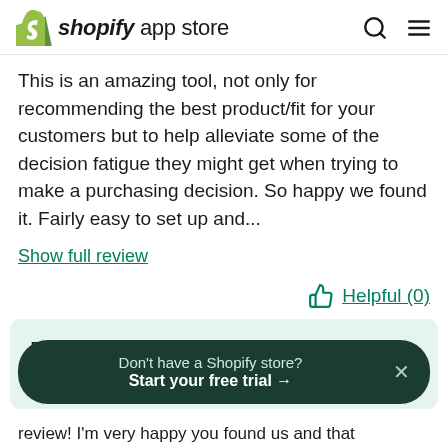shopify app store
This is an amazing tool, not only for recommending the best product/fit for your customers but to help alleviate some of the decision fatigue they might get when trying to make a purchasing decision. So happy we found it. Fairly easy to set up and...
Show full review
Helpful (0)
Developer reply
Don't have a Shopify store? Start your free trial →
review! I'm very happy you found us and that